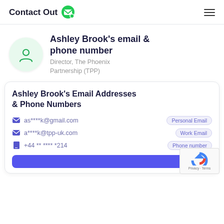ContactOut
Ashley Brook's email & phone number
Director, The Phoenix Partnership (TPP)
Ashley Brook's Email Addresses & Phone Numbers
as****k@gmail.com  Personal Email
a****k@tpp-uk.com  Work Email
+44 ** **** *214  Phone number